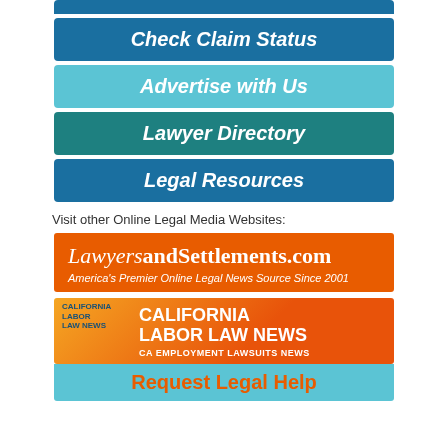[Figure (screenshot): Navigation button: Check Claim Status on dark blue background]
[Figure (screenshot): Navigation button: Advertise with Us on light blue background]
[Figure (screenshot): Navigation button: Lawyer Directory on teal background]
[Figure (screenshot): Navigation button: Legal Resources on dark blue background]
Visit other Online Legal Media Websites:
[Figure (logo): LawyersandSettlements.com banner - America's Premier Online Legal News Source Since 2001]
[Figure (logo): California Labor Law News - CA Employment Lawsuits News banner with Request Legal Help button]